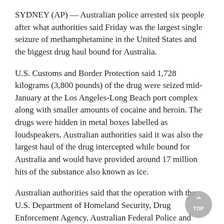SYDNEY (AP) — Australian police arrested six people after what authorities said Friday was the largest single seizure of methamphetamine in the United States and the biggest drug haul bound for Australia.
U.S. Customs and Border Protection said 1,728 kilograms (3,800 pounds) of the drug were seized mid-January at the Los Angeles-Long Beach port complex along with smaller amounts of cocaine and heroin. The drugs were hidden in metal boxes labelled as loudspeakers. Australian authorities said it was also the largest haul of the drug intercepted while bound for Australia and would have provided around 17 million hits of the substance also known as ice.
Australian authorities said that the operation with the U.S. Department of Homeland Security, Drug Enforcement Agency, Australian Federal Police and Victoria state police had stopped "a tsunami of ice" from reaching their shores.